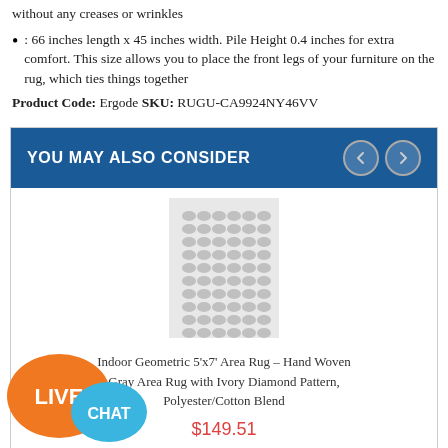without any creases or wrinkles
: 66 inches length x 45 inches width. Pile Height 0.4 inches for extra comfort. This size allows you to place the front legs of your furniture on the rug, which ties things together
Product Code: Ergode SKU: RUGU-CA9924NY46VV
YOU MAY ALSO CONSIDER
[Figure (photo): Product photo placeholder showing a gray area rug with geometric/diamond pattern]
Indoor Geometric 5'x7' Area Rug - Hand Woven Gray Area Rug with Ivory Diamond Pattern, Polyester/Cotton Blend
$149.51